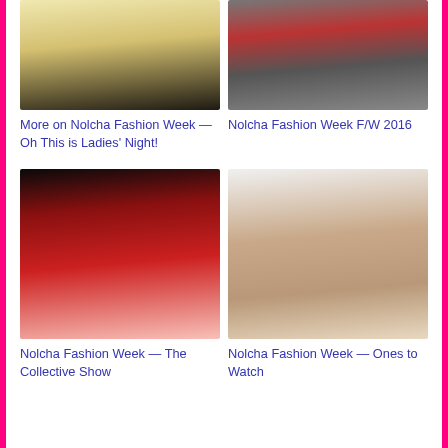[Figure (photo): Fashion model in cream/gold outfit on runway]
More on Nolcha Fashion Week — Oh This is Ladies' Night!
[Figure (photo): Group of fashion models on runway in red and gray dresses]
Nolcha Fashion Week F/W 2016
[Figure (photo): Fashion model in red lace gown on runway]
Nolcha Fashion Week — The Collective Show
[Figure (photo): Fashion model in nude/beige sheer dress on runway]
Nolcha Fashion Week — Ones to Watch